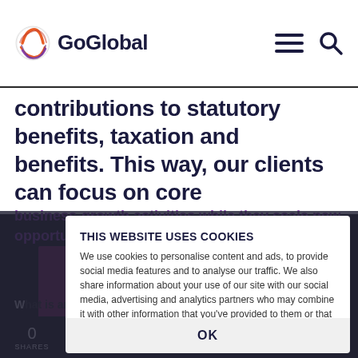GoGlobal
contributions to statutory benefits, taxation and benefits. This way, our clients can focus on core
business-growth activities while they scale new opportunities.
THIS WEBSITE USES COOKIES
We use cookies to personalise content and ads, to provide social media features and to analyse our traffic. We also share information about your use of our site with our social media, advertising and analytics partners who may combine it with other information that you've provided to them or that they've collected from your use of their services. See our privacy policy for more information.
What is an Employer of Record (EOR)?
OK
0 SHARES